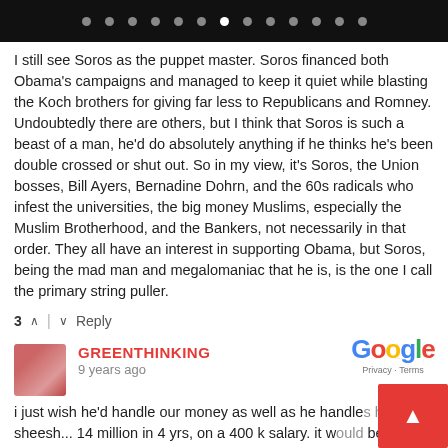navigation dots bar
I still see Soros as the puppet master. Soros financed both Obama's campaigns and managed to keep it quiet while blasting the Koch brothers for giving far less to Republicans and Romney. Undoubtedly there are others, but I think that Soros is such a beast of a man, he'd do absolutely anything if he thinks he's been double crossed or shut out. So in my view, it's Soros, the Union bosses, Bill Ayers, Bernadine Dohrn, and the 60s radicals who infest the universities, the big money Muslims, especially the Muslim Brotherhood, and the Bankers, not necessarily in that order. They all have an interest in supporting Obama, but Soros, being the mad man and megalomaniac that he is, is the one I call the primary string puller.
3 ∧ | ∨ Reply
GREENTHINKING
9 years ago
i just wish he'd handle our money as well as he handle own, sheesh... 14 million in 4 yrs, on a 400 k salary. it w be fascinating to think that it's true and he is just a made up